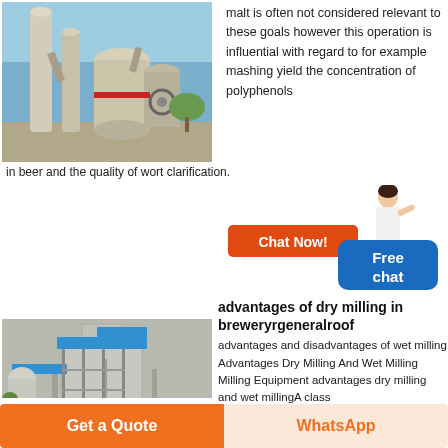[Figure (photo): Industrial milling equipment with large cylindrical vessels and pipes against blue sky]
malt is often not considered relevant to these goals however this operation is influential with regard to for example mashing yield the concentration of polyphenols in beer and the quality of wort clarification.
[Figure (illustration): Chat Now button with a female customer service representative and a blue Free chat bubble]
[Figure (photo): Industrial dry milling plant facility with blue roofing, conveyor systems, and orange loader machinery]
advantages of dry milling in breweryrgeneralroof
advantages and disadvantages of wet milling Advantages Dry Milling And Wet Milling Milling Equipment advantages dry milling and wet millingA class
Get a Quote
WhatsApp